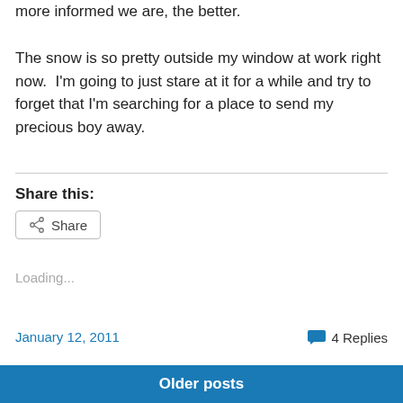more informed we are, the better.
The snow is so pretty outside my window at work right now.  I'm going to just stare at it for a while and try to forget that I'm searching for a place to send my precious boy away.
Share this:
[Figure (other): Share button with share icon]
Loading...
January 12, 2011
4 Replies
Older posts